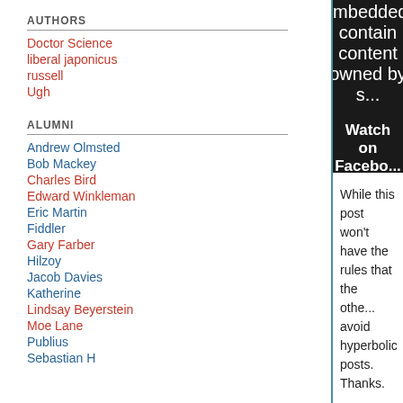AUTHORS
Doctor Science
liberal japonicus
russell
Ugh
ALUMNI
Andrew Olmsted
Bob Mackey
Charles Bird
Edward Winkleman
Eric Martin
Fiddler
Gary Farber
Hilzoy
Jacob Davies
Katherine
Lindsay Beyerstein
Moe Lane
Publius
Sebastian H
[Figure (screenshot): Embedded video player (black background) showing error message: 'This video can't be embedded. contain content owned by s...' with options 'Watch on Facebo... Learn more']
While this post won't have the rules that the othe... avoid hyperbolic posts. Thanks.
Posted by SuperUser at 05:00 PM | Permalink